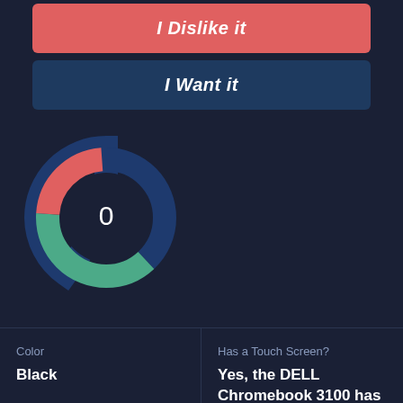I Dislike it
I Want it
[Figure (donut-chart): Donut chart with three colored segments: blue (top-left), teal/green (right), and red/coral (bottom). Center displays the number 0.]
Color
Black
Has a Touch Screen?
Yes, the DELL Chromebook 3100 has a full Touchscreen
Has a SD Card Reader?
64-bit or 32-bit ?